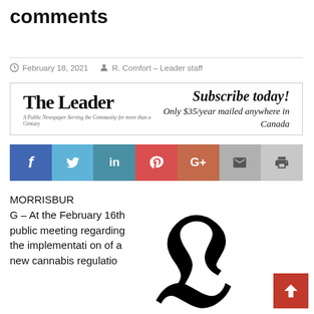comments
February 18, 2021   R. Comfort – Leader staff
[Figure (advertisement): The Leader newspaper ad: 'Subscribe today! Only $35/year mailed anywhere in Canada']
[Figure (infographic): Social sharing buttons: Facebook, Twitter, LinkedIn, Pinterest, Google+, Email, Print]
MORRISBURG – At the February 16th public meeting regarding the implementation of a new cannabis regulation
[Figure (logo): The Leader newspaper gothic 'L' logo in black]